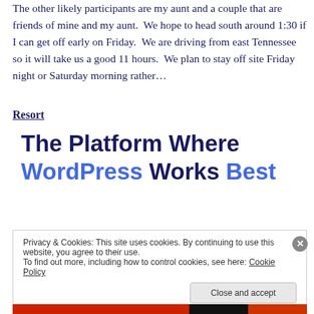The other likely participants are my aunt and a couple that are friends of mine and my aunt. We hope to head south around 1:30 if I can get off early on Friday. We are driving from east Tennessee so it will take us a good 11 hours. We plan to stay off site Friday night or Saturday morning rather…
Resort
[Figure (screenshot): WordPress advertising banner reading 'The Platform Where WordPress Works Best' with WordPress in blue text]
Privacy & Cookies: This site uses cookies. By continuing to use this website, you agree to their use. To find out more, including how to control cookies, see here: Cookie Policy
Close and accept